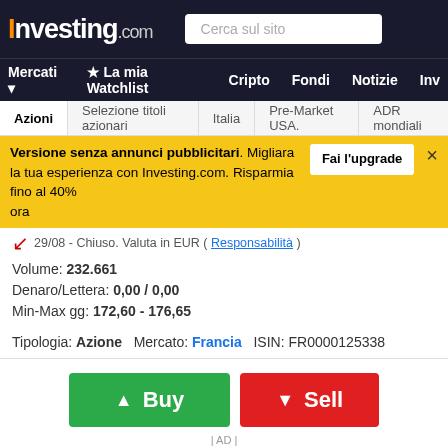Investing.com — Cerca sul sito | Mercati | La mia Watchlist | Cripto | Fondi | Notizie | Inv
Azioni | Selezione titoli azionari | Italia | Pre-Market USA. | ADR mondiali
Versione senza annunci pubblicitari. Migliora la tua esperienza con Investing.com. Risparmia fino al 40% ora — Fai l'upgrade ×
29/08 - Chiuso. Valuta in EUR ( Responsabilità )
Volume: 232.661
Denaro/Lettera: 0,00 / 0,00
Min-Max gg: 172,60 - 176,65
Tipologia: Azione   Mercato: Francia   ISIN: FR0000125338
[Figure (screenshot): Buy and Sell buttons with green Buy button and red Sell button]
| AD |
Generale   Grafici   News e Analisi   Bilancio   Sezione tecnica
Analisi tecnica
CAPP Discussioni